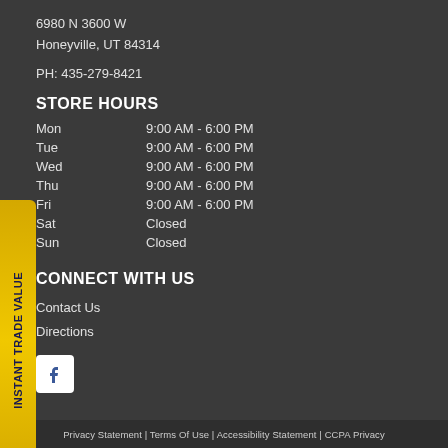6980 N 3600 W
Honeyville, UT 84314
PH: 435-279-8421
STORE HOURS
| Day | Hours |
| --- | --- |
| Mon | 9:00 AM - 6:00 PM |
| Tue | 9:00 AM - 6:00 PM |
| Wed | 9:00 AM - 6:00 PM |
| Thu | 9:00 AM - 6:00 PM |
| Fri | 9:00 AM - 6:00 PM |
| Sat | Closed |
| Sun | Closed |
CONNECT WITH US
Contact Us
Directions
[Figure (logo): Facebook icon - white F on white square background]
Privacy Statement | Terms Of Use | Accessibility Statement | CCPA Privacy